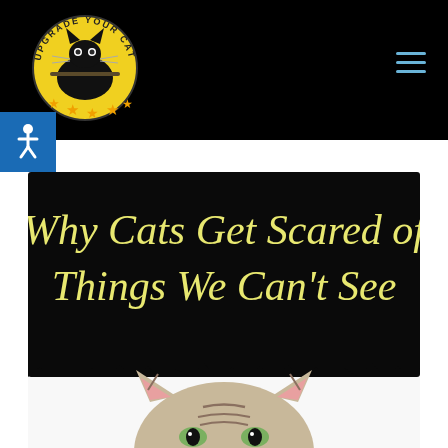Upgrade Your Cat — website header with logo and navigation
[Figure (screenshot): Website header with black background, circular yellow 'Upgrade Your Cat' logo featuring a black cat, blue accessibility icon on left, and blue hamburger menu icon on right]
[Figure (illustration): Article featured image: black banner with decorative torn bottom edge and yellow cursive text reading 'Why Cats Get Scared of Things We Can't See', with a tabby cat's head (ears and forehead) peeking up from white background below]